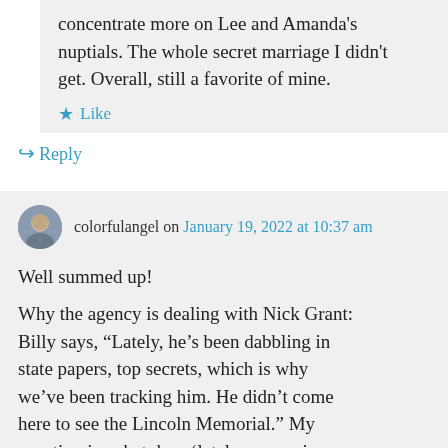concentrate more on Lee and Amanda's nuptials. The whole secret marriage I didn't get. Overall, still a favorite of mine.
Like
Reply
colorfulangel on January 19, 2022 at 10:37 am
Well summed up!
Why the agency is dealing with Nick Grant: Billy says, “Lately, he’s been dabbling in state papers, top secrets, which is why we’ve been tracking him. He didn’t come here to see the Lincoln Memorial.” My question is: what does ‘lately mean, since